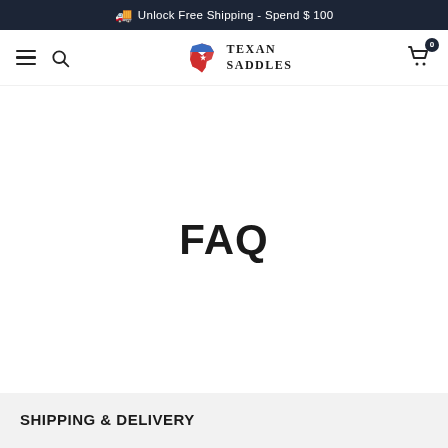🚚 Unlock Free Shipping - Spend $ 100
[Figure (logo): Texan Saddles logo with Texas state outline in red, white and blue, with navigation icons (hamburger menu, search, cart with 0 badge)]
FAQ
SHIPPING & DELIVERY